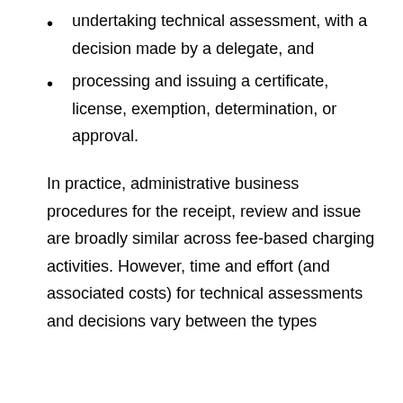undertaking technical assessment, with a decision made by a delegate, and
processing and issuing a certificate, license, exemption, determination, or approval.
In practice, administrative business procedures for the receipt, review and issue are broadly similar across fee-based charging activities. However, time and effort (and associated costs) for technical assessments and decisions vary between the types